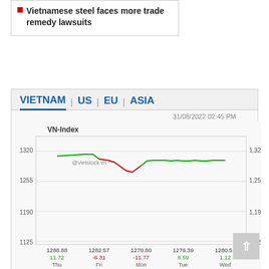Vietnamese steel faces more trade remedy lawsuits
VIETNAM | US | EU | ASIA
31/08/2022 02:45 PM
[Figure (line-chart): VN-Index]